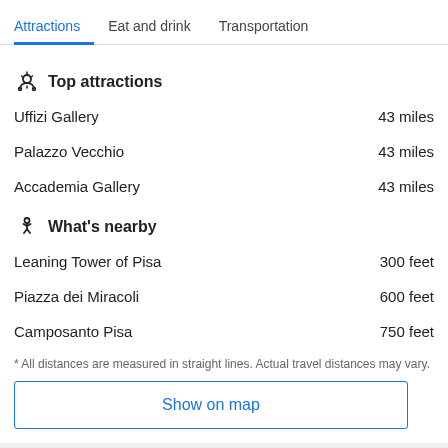Attractions | Eat and drink | Transportation
Top attractions
Uffizi Gallery — 43 miles
Palazzo Vecchio — 43 miles
Accademia Gallery — 43 miles
What's nearby
Leaning Tower of Pisa — 300 feet
Piazza dei Miracoli — 600 feet
Camposanto Pisa — 750 feet
* All distances are measured in straight lines. Actual travel distances may vary.
Show on map
Real reviews from real guests
Over 236 million reviews from guests after their stay